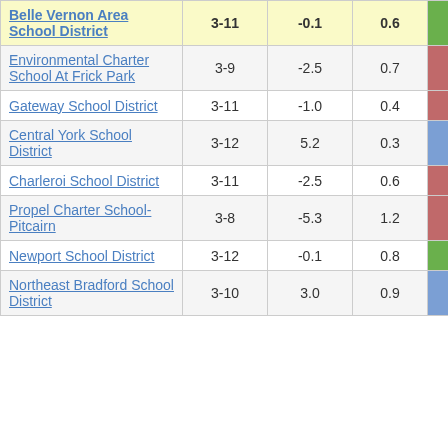| School/District | Grades | Col3 | Col4 | Score |
| --- | --- | --- | --- | --- |
| Belle Vernon Area School District | 3-11 | -0.1 | 0.6 | -0.10 |
| Environmental Charter School At Frick Park | 3-9 | -2.5 | 0.7 | -3.49 |
| Gateway School District | 3-11 | -1.0 | 0.4 | -2.20 |
| Central York School District | 3-12 | 5.2 | 0.3 | 15.18 |
| Charleroi School District | 3-11 | -2.5 | 0.6 | -3.90 |
| Propel Charter School-Pitcairn | 3-8 | -5.3 | 1.2 | -4.63 |
| Newport School District | 3-12 | -0.1 | 0.8 | -0.16 |
| Northeast Bradford School District | 3-10 | 3.0 | 0.9 | 3.25 |